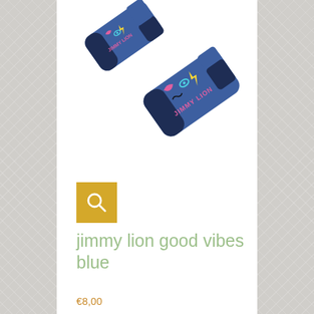[Figure (photo): Two blue ankle socks with navy toe and heel caps, decorated with colorful icons (eyes, lightning bolt, lips) and 'JIMMY LION' text in pink. Socks are displayed overlapping at an angle on white background.]
[Figure (other): Yellow/golden square button with white magnifying glass search icon]
jimmy lion good vibes blue
€8,00
OUR STORY
From banking to socks.
In 2014 two friends left their banking jobs to set up Jimmy Lion. Starting up in New York their goal was clear: Create original, and premium quality socks at a reasonable price.
QUALITY